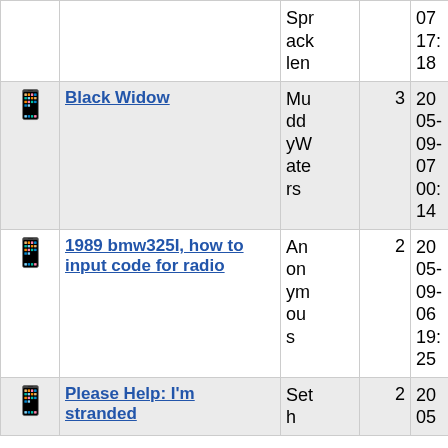| Icon | Title | Author | Replies | Date |
| --- | --- | --- | --- | --- |
| [icon] |  | Spracklen |  | 07 17:18 |
| [icon] | Black Widow | MuddyWaters | 3 | 2005-09-07 00:14 |
| [icon] | 1989 bmw325I, how to input code for radio | Anonymous | 2 | 2005-09-06 19:25 |
| [icon] | Please Help: I'm stranded | Seth | 2 | 2005-... |